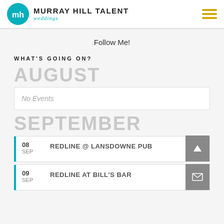MURRAY HILL TALENT weddings
Follow Me!
WHAT'S GOING ON?
AUGUST
No Events
SEPTEMBER
08 SEP - REDLINE @ LANSDOWNE PUB
09 SEP - REDLINE AT BILL'S BAR